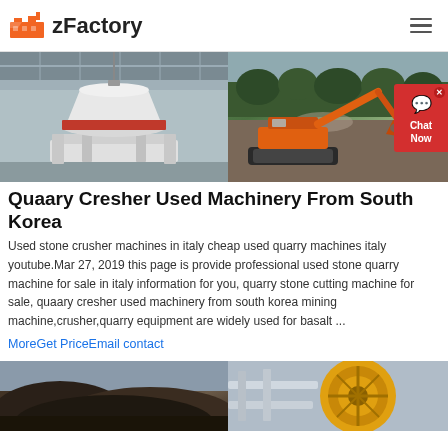zFactory
[Figure (photo): Two industrial machinery photos side by side: left shows a white cone crusher machine in a factory/warehouse setting; right shows an orange excavator loading material in an outdoor quarry with forest in background.]
Quaary Cresher Used Machinery From South Korea
Used stone crusher machines in italy cheap used quarry machines italy youtube.Mar 27, 2019 this page is provide professional used stone quarry machine for sale in italy information for you, quarry stone cutting machine for sale, quaary cresher used machinery from south korea mining machine,crusher,quarry equipment are widely used for basalt ...
MoreGet PriceEmail contact
[Figure (photo): Two industrial/mining photos side by side: left shows dark earthen mounds at a mining site; right shows yellow industrial machinery/drum equipment.]